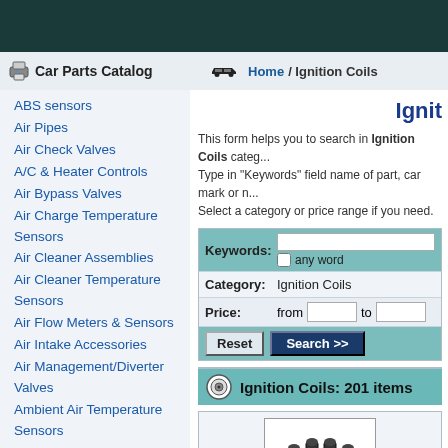Car Parts Catalog | Home / Ignition Coils
ABS sensors
Air Pipes
Air Check Valves
A/C & Heater Controls
Air Bypass Valves
Air Charge Temperature Sensors
Air Cleaner Assemblies
Air Cleaner Temperature Sensors
Air Flow Meters & Sensors
Air Intake Accessories
Air Management/Diverter Valves
Ambient Air Temperature Sensors
Back-up Light Switches
Bargain Basement-SALE
Blower Motor Resistors
Bowl-vent Solenoids
Brake Fluid Level Sensors
Camshaft Sensors
Ignition Coils
This form helps you to search in Ignition Coils category. Type in "Keywords" field name of part, car mark or number. Select a category or price range if you need.
Keywords: [text field] any word
Category: Ignition Coils
Price: from [  ] to [  ]
[Reset] [Search >>]
Ignition Coils: 201 items
[Figure (photo): Photo of an ignition coil part - black and silver electronic component]